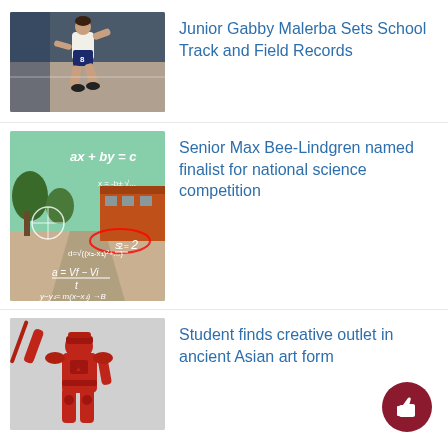[Figure (photo): A female athlete in white top and dark blue shorts running on a track]
Junior Gabby Malerba Sets School Track and Field Records
[Figure (photo): An outdoor school campus photo with math equations (ax + by = c, a = (Vf - Vi)/t, y - y1 = m(x - x1)) overlaid on the image]
Senior Max Bee-Lindgren named finalist for national science competition
[Figure (photo): A red sculpture or figurine of a warrior/knight-like character, viewed from below against a gray background]
Student finds creative outlet in ancient Asian art form